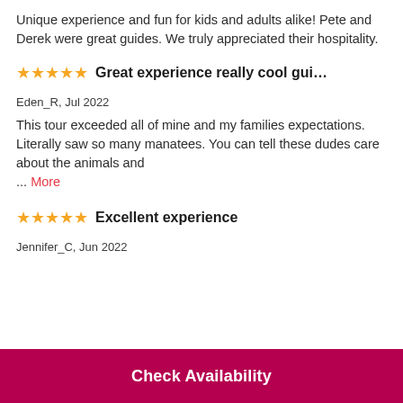Unique experience and fun for kids and adults alike! Pete and Derek were great guides. We truly appreciated their hospitality.
Great experience really cool guide/c...
Eden_R, Jul 2022
This tour exceeded all of mine and my families expectations. Literally saw so many manatees. You can tell these dudes care about the animals and ... More
Excellent experience
Jennifer_C, Jun 2022
Check Availability